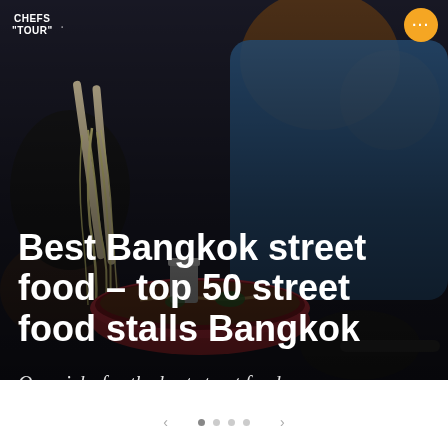[Figure (photo): Person eating noodles with chopsticks from a red bowl, dark atmospheric background with bokeh lighting, street food setting in Bangkok]
CHEFS TOUR
Best Bangkok street food – top 50 street food stalls Bangkok
Our picks for the best street food